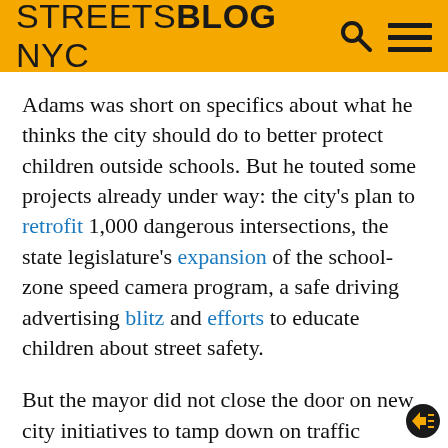STREETSBLOG NYC
Adams was short on specifics about what he thinks the city should do to better protect children outside schools. But he touted some projects already under way: the city's plan to retrofit 1,000 dangerous intersections, the state legislature's expansion of the school-zone speed camera program, a safe driving advertising blitz and efforts to educate children about street safety.
But the mayor did not close the door on new city initiatives to tamp down on traffic violence around schools, saying he was open to ideas.
“If there are ideas that you have, that we should be doing … we listen to all great ideas,” Adams said. He